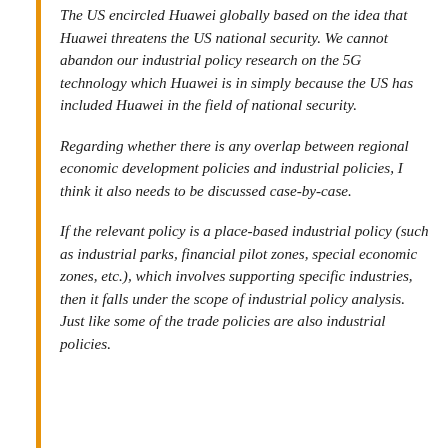The US encircled Huawei globally based on the idea that Huawei threatens the US national security. We cannot abandon our industrial policy research on the 5G technology which Huawei is in simply because the US has included Huawei in the field of national security.
Regarding whether there is any overlap between regional economic development policies and industrial policies, I think it also needs to be discussed case-by-case.
If the relevant policy is a place-based industrial policy (such as industrial parks, financial pilot zones, special economic zones, etc.), which involves supporting specific industries, then it falls under the scope of industrial policy analysis. Just like some of the trade policies are also industrial policies.